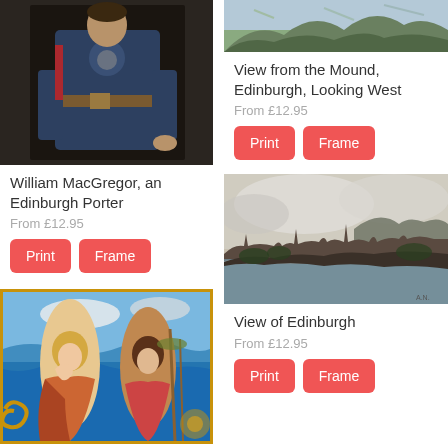[Figure (photo): Painting of William MacGregor, an Edinburgh Porter - a man in dark blue coat with belt]
William MacGregor, an Edinburgh Porter
From £12.95
Print
Frame
[Figure (photo): Partial top of a landscape painting - View from the Mound, Edinburgh, Looking West]
View from the Mound, Edinburgh, Looking West
From £12.95
Print
Frame
[Figure (photo): Landscape painting - View of Edinburgh panorama]
View of Edinburgh
From £12.95
Print
Frame
[Figure (photo): Colorful painting with two figures - mythological scene with sea in background]